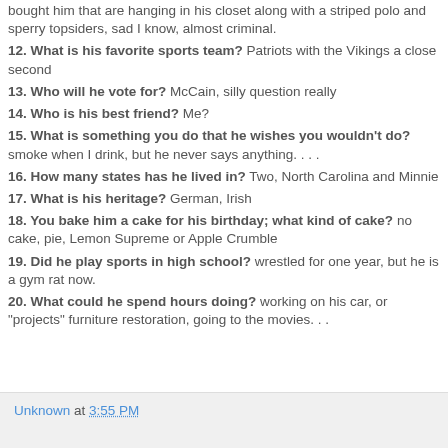bought him that are hanging in his closet along with a striped polo and sperry topsiders, sad I know, almost criminal.
12. What is his favorite sports team? Patriots with the Vikings a close second
13. Who will he vote for? McCain, silly question really
14. Who is his best friend? Me?
15. What is something you do that he wishes you wouldn't do? smoke when I drink, but he never says anything. . . .
16. How many states has he lived in? Two, North Carolina and Minnie
17. What is his heritage? German, Irish
18. You bake him a cake for his birthday; what kind of cake? no cake, pie, Lemon Supreme or Apple Crumble
19. Did he play sports in high school? wrestled for one year, but he is a gym rat now.
20. What could he spend hours doing? working on his car, or "projects" furniture restoration, going to the movies. . .
Unknown at 3:55 PM